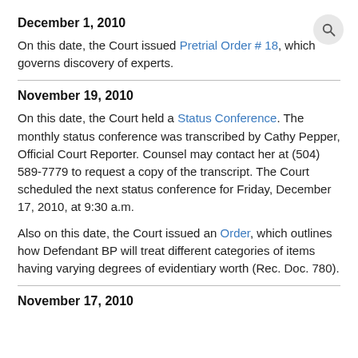December 1, 2010
On this date, the Court issued Pretrial Order # 18, which governs discovery of experts.
November 19, 2010
On this date, the Court held a Status Conference. The monthly status conference was transcribed by Cathy Pepper, Official Court Reporter. Counsel may contact her at (504) 589-7779 to request a copy of the transcript. The Court scheduled the next status conference for Friday, December 17, 2010, at 9:30 a.m.
Also on this date, the Court issued an Order, which outlines how Defendant BP will treat different categories of items having varying degrees of evidentiary worth (Rec. Doc. 780).
November 17, 2010